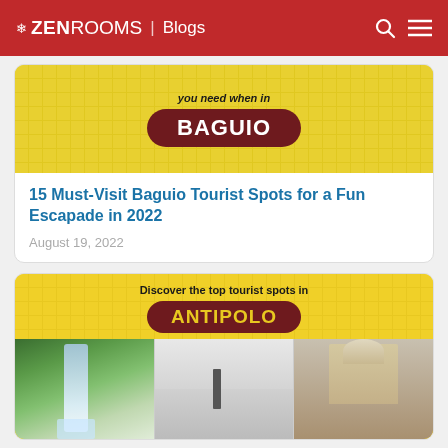ZEN ROOMS | Blogs
[Figure (illustration): Baguio tourist spots blog thumbnail — yellow checkerboard background with text 'you need when in BAGUIO' in dark red pill badge, plus a lion statue image]
15 Must-Visit Baguio Tourist Spots for a Fun Escapade in 2022
August 19, 2022
[Figure (illustration): Antipolo tourist spots blog thumbnail — yellow background with text 'Discover the top tourist spots in ANTIPOLO' in dark red pill badge, plus three photos: waterfall, art gallery, church interior]